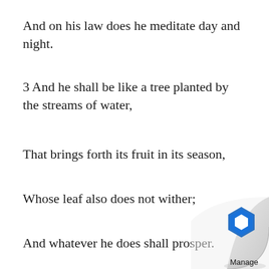And on his law does he meditate day and night.
3 And he shall be like a tree planted by the streams of water,
That brings forth its fruit in its season,
Whose leaf also does not wither;
And whatever he does shall prosper.
[Figure (logo): Curved page corner fold effect with a blue hexagonal logo and the word 'Manage' beneath it in the bottom-right corner]